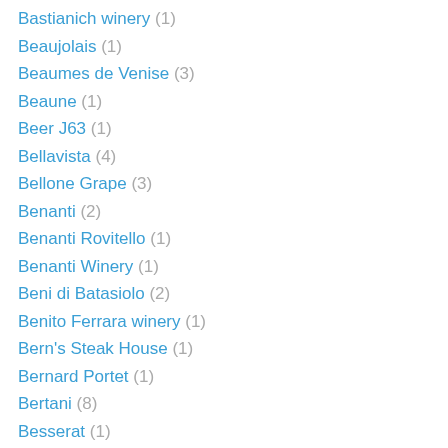Bastianich winery (1)
Beaujolais (1)
Beaumes de Venise (3)
Beaune (1)
Beer J63 (1)
Bellavista (4)
Bellone Grape (3)
Benanti (2)
Benanti Rovitello (1)
Benanti Winery (1)
Beni di Batasiolo (2)
Benito Ferrara winery (1)
Bern's Steak House (1)
Bernard Portet (1)
Bertani (8)
Besserat (1)
Best of $20 and under (1)
Biancodicaselle (1)
Biancolella (1)
Bibbiano (3)